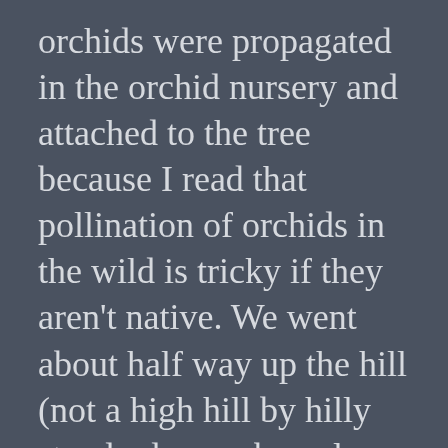orchids were propagated in the orchid nursery and attached to the tree because I read that pollination of orchids in the wild is tricky if they aren't native. We went about half way up the hill (not a high hill by hilly standards, maybe only considered a hill in really flat environments) and when I looked over at the tree I saw orchids planted all along a long horizontal trunk.